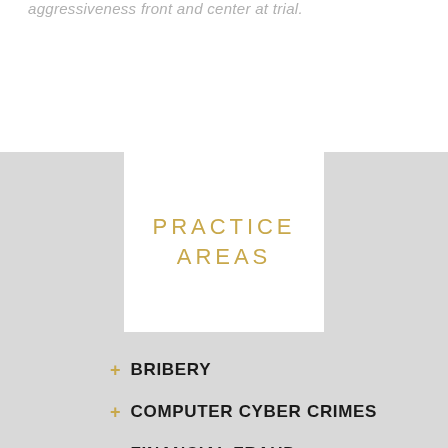aggressiveness front and center at trial.
PRACTICE AREAS
+ BRIBERY
+ COMPUTER CYBER CRIMES
+ FINANCIAL FRAUD